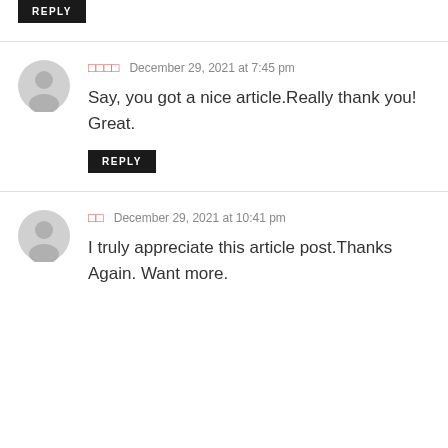REPLY
□□□□   December 29, 2021 at 7:45 pm
Say, you got a nice article.Really thank you! Great.
REPLY
□□   December 29, 2021 at 10:41 pm
I truly appreciate this article post.Thanks Again. Want more.